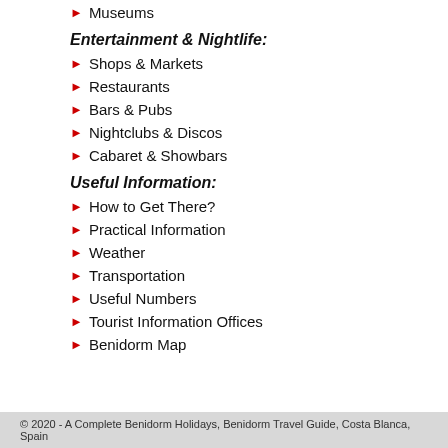Museums
Entertainment & Nightlife:
Shops & Markets
Restaurants
Bars & Pubs
Nightclubs & Discos
Cabaret & Showbars
Useful Information:
How to Get There?
Practical Information
Weather
Transportation
Useful Numbers
Tourist Information Offices
Benidorm Map
© 2020 - A Complete Benidorm Holidays, Benidorm Travel Guide, Costa Blanca, Spain